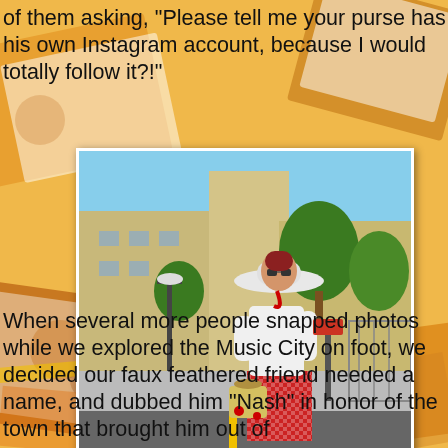group of girls approached to take a picture, with one of them asking, "Please tell me your purse has his own Instagram account, because I would totally follow it?!"
[Figure (photo): A woman in a white top, red gingham skirt, white wide-brim hat, and white wedge shoes carries a novelty bag while crossing an urban street. Buildings and trees visible in the background.]
When several more people snapped photos while we explored the Music City on foot, we decided our faux feathered friend needed a name, and dubbed him "Nash" in honor of the town that brought him out of